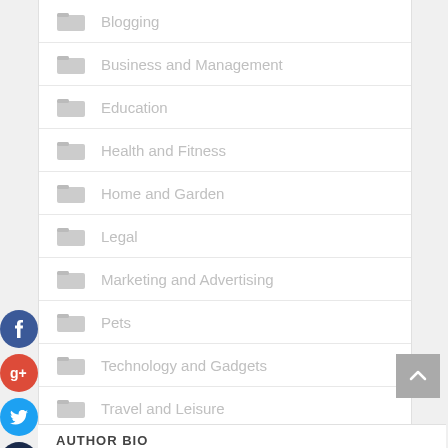Blogging
Business and Management
Education
Health and Fitness
Home and Garden
Legal
Marketing and Advertising
Pets
Technology and Gadgets
Travel and Leisure
AUTHOR BIO